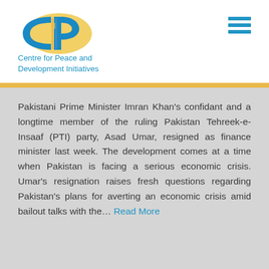[Figure (logo): CPDI logo — blue and yellow interlocking C and P letters with a yellow ellipse background]
Centre for Peace and Development Initiatives
Pakistani Prime Minister Imran Khan's confidant and a longtime member of the ruling Pakistan Tehreek-e-Insaaf (PTI) party, Asad Umar, resigned as finance minister last week. The development comes at a time when Pakistan is facing a serious economic crisis. Umar's resignation raises fresh questions regarding Pakistan's plans for averting an economic crisis amid bailout talks with the… Read More